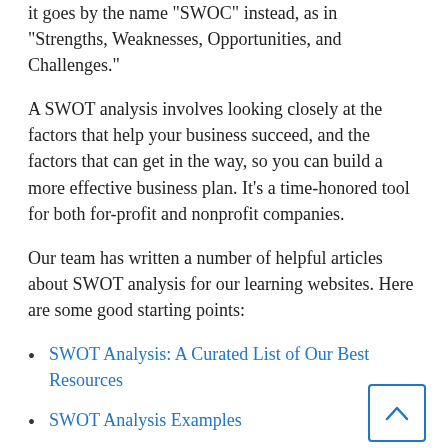it goes by the name "SWOC" instead, as in "Strengths, Weaknesses, Opportunities, and Challenges."
A SWOT analysis involves looking closely at the factors that help your business succeed, and the factors that can get in the way, so you can build a more effective business plan. It's a time-honored tool for both for-profit and nonprofit companies.
Our team has written a number of helpful articles about SWOT analysis for our learning websites. Here are some good starting points:
SWOT Analysis: A Curated List of Our Best Resources
SWOT Analysis Examples
Turning Your SWOT Analysis into Actionable Strategies